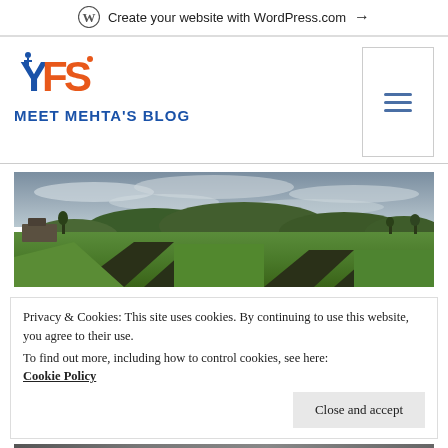Create your website with WordPress.com →
[Figure (logo): YFS logo with stylized letters Y, F, S in orange and blue]
MEET MEHTA'S BLOG
[Figure (photo): Panoramic landscape photo showing green agricultural fields, dark soil patches, hills with trees, and overcast cloudy sky]
Privacy & Cookies: This site uses cookies. By continuing to use this website, you agree to their use.
To find out more, including how to control cookies, see here: Cookie Policy
Close and accept